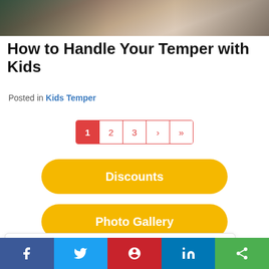[Figure (photo): Top banner photo showing people (appears to be a parent with children), cropped to show arms and torsos]
How to Handle Your Temper with Kids
Posted in Kids Temper
[Figure (other): Pagination control showing pages 1, 2, 3, >, >> with page 1 highlighted in red]
Discounts
Photo Gallery
FAQ's
Do you have a question? Call 240-813-0713 or chat now
f  [Twitter bird]  [Pinterest]  in  [Share]